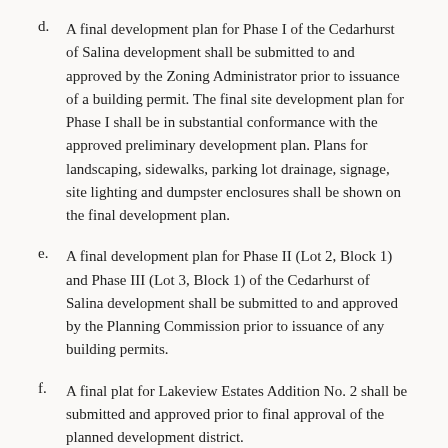d. A final development plan for Phase I of the Cedarhurst of Salina development shall be submitted to and approved by the Zoning Administrator prior to issuance of a building permit. The final site development plan for Phase I shall be in substantial conformance with the approved preliminary development plan. Plans for landscaping, sidewalks, parking lot drainage, signage, site lighting and dumpster enclosures shall be shown on the final development plan.
e. A final development plan for Phase II (Lot 2, Block 1) and Phase III (Lot 3, Block 1) of the Cedarhurst of Salina development shall be submitted to and approved by the Planning Commission prior to issuance of any building permits.
f. A final plat for Lakeview Estates Addition No. 2 shall be submitted and approved prior to final approval of the planned development district.